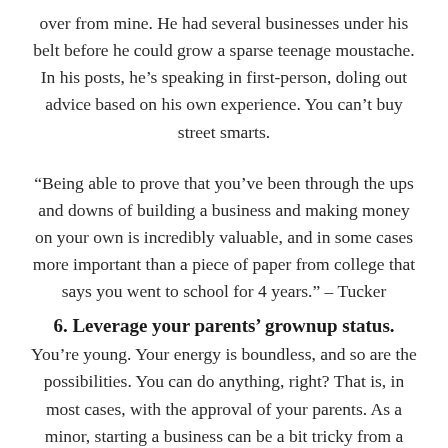over from mine. He had several businesses under his belt before he could grow a sparse teenage moustache. In his posts, he’s speaking in first-person, doling out advice based on his own experience. You can’t buy street smarts.
“Being able to prove that you’ve been through the ups and downs of building a business and making money on your own is incredibly valuable, and in some cases more important than a piece of paper from college that says you went to school for 4 years.” – Tucker
6. Leverage your parents’ grownup status.
You’re young. Your energy is boundless, and so are the possibilities. You can do anything, right? That is, in most cases, with the approval of your parents. As a minor, starting a business can be a bit tricky from a legal